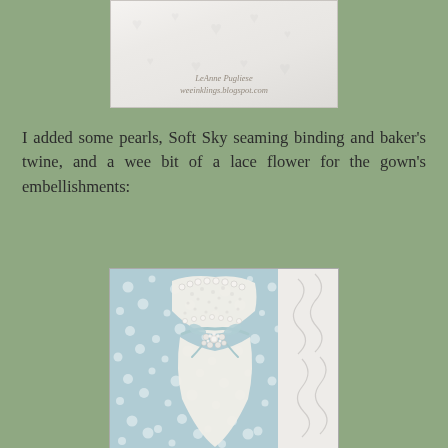[Figure (photo): Close-up photo of a white embossed card with heart patterns and a watermark reading 'LeAnne Pugliese weeinklings.blogspot.com']
I added some pearls, Soft Sky seaming binding and baker's twine, and a wee bit of a lace flower for the gown's embellishments:
[Figure (photo): Close-up photo of a handmade card showing a white wedding gown shape on soft blue embossed cardstock with raised dots, decorated with pearls, light blue seam binding twine, and a small lace flower embellishment. The right side shows white embossed swirl pattern cardstock.]